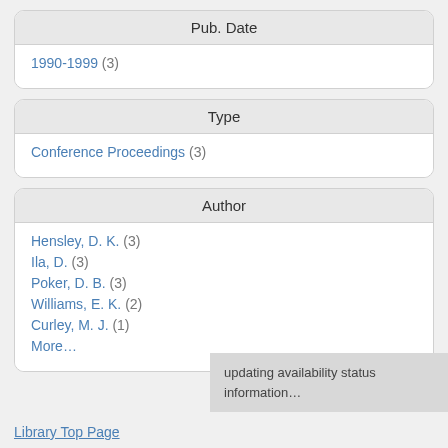Pub. Date
1990-1999 (3)
Type
Conference Proceedings (3)
Author
Hensley, D. K. (3)
Ila, D. (3)
Poker, D. B. (3)
Williams, E. K. (2)
Curley, M. J. (1)
More…
updating availability status information…
Library Top Page